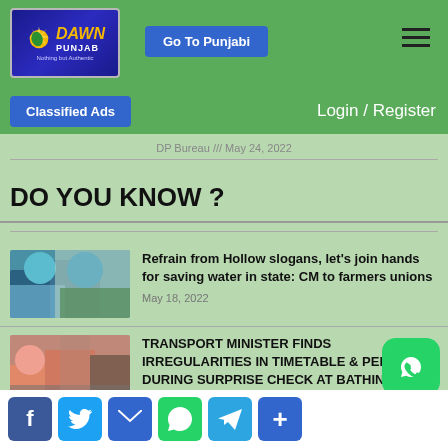Dawn Punjab — Nothing but Authentic
Go To Punjabi
Classified Ads
Login / Register
DP Bureau /// May 24, 2022
DO YOU KNOW ?
[Figure (photo): Thumbnail image for first article about water saving]
Refrain from Hollow slogans, let's join hands for saving water in state: CM to farmers unions
May 18, 2022
[Figure (photo): Thumbnail image for second article about transport minister]
TRANSPORT MINISTER FINDS IRREGULARITIES IN TIMETABLE & PERMITS DURING SURPRISE CHECK AT BATHING C...
May 16, 2022